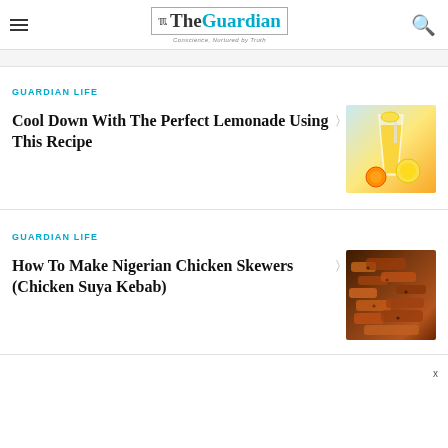The Guardian — Conscience, Nurtured by Truth
GUARDIAN LIFE
Cool Down With The Perfect Lemonade Using This Recipe
[Figure (photo): Glass of lemonade with orange and lemon slices on a blue background]
GUARDIAN LIFE
How To Make Nigerian Chicken Skewers (Chicken Suya Kebab)
[Figure (photo): Close-up of Nigerian chicken skewers / chicken suya kebab]